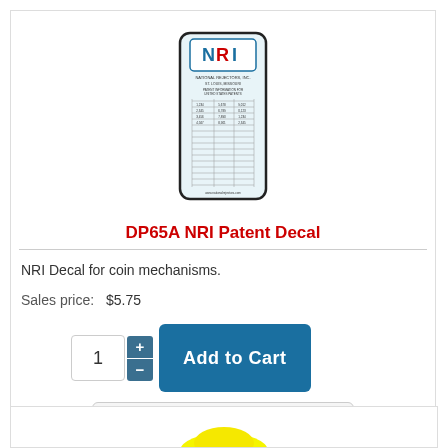[Figure (photo): NRI Patent Decal product image — a small rectangular sticker with rounded corners, white/light blue background, featuring NRI logo at top and a table of text data below]
DP65A NRI Patent Decal
NRI Decal for coin mechanisms.
Sales price:   $5.75
[Figure (screenshot): Quantity input with plus/minus buttons and Add to Cart button, plus Product details button]
[Figure (photo): Bottom portion of next product card showing yellow object at the bottom of the page]